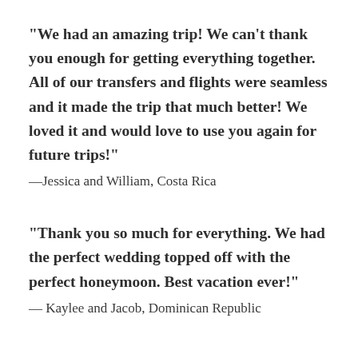"We had an amazing trip! We can't thank you enough for getting everything together. All of our transfers and flights were seamless and it made the trip that much better! We loved it and would love to use you again for future trips!"
—Jessica and William, Costa Rica
"Thank you so much for everything. We had the perfect wedding topped off with the perfect honeymoon. Best vacation ever!"
— Kaylee and Jacob, Dominican Republic